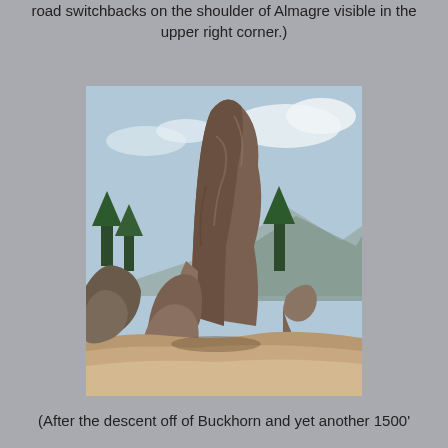road switchbacks on the shoulder of Almagre visible in the upper right corner.)
[Figure (photo): Outdoor photograph of large granite rock formation resembling a head or face viewed in profile, with blue sky and clouds in the background, pine trees visible, and mountain terrain in the distance. Sandy ground in the foreground. A curved smaller rock formation is visible to the right.]
(After the descent off of Buckhorn and yet another 1500'